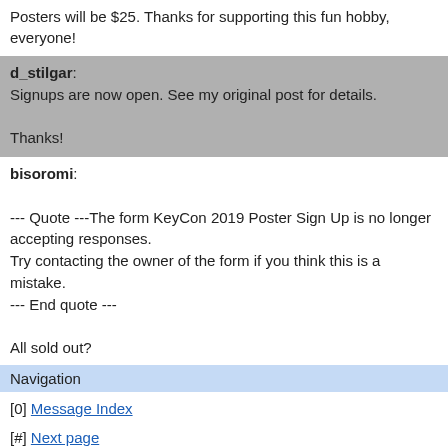Posters will be $25. Thanks for supporting this fun hobby, everyone!
d_stilgar: Signups are now open. See my original post for details.

Thanks!
bisoromi:

--- Quote ---The form KeyCon 2019 Poster Sign Up is no longer accepting responses.
Try contacting the owner of the form if you think this is a mistake.
--- End quote ---

All sold out?
Navigation
[0] Message Index
[#] Next page
Go to full version